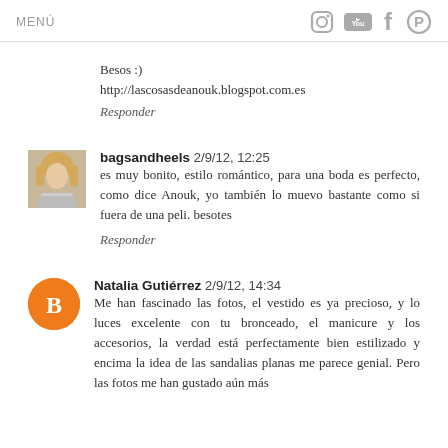MENÚ
Besos :)
http://lascosasdeanouk.blogspot.com.es
Responder
bagsandheels 2/9/12, 12:25
es muy bonito, estilo romántico, para una boda es perfecto, como dice Anouk, yo también lo muevo bastante como si fuera de una peli. besotes
Responder
Natalia Gutiérrez 2/9/12, 14:34
Me han fascinado las fotos, el vestido es ya precioso, y lo luces excelente con tu bronceado, el manicure y los accesorios, la verdad está perfectamente bien estilizado y encima la idea de las sandalias planas me parece genial. Pero las fotos me han gustado aún más